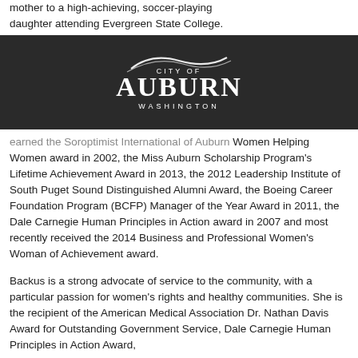mother to a high-achieving, soccer-playing daughter attending Evergreen State College.
[Figure (logo): City of Auburn Washington official logo — white text and graphic on dark background]
earned the Soroptimist International of Auburn Women Helping Women award in 2002, the Miss Auburn Scholarship Program's Lifetime Achievement Award in 2013, the 2012 Leadership Institute of South Puget Sound Distinguished Alumni Award, the Boeing Career Foundation Program (BCFP) Manager of the Year Award in 2011, the Dale Carnegie Human Principles in Action award in 2007 and most recently received the 2014 Business and Professional Women's Woman of Achievement award.
Backus is a strong advocate of service to the community, with a particular passion for women's rights and healthy communities. She is the recipient of the American Medical Association Dr. Nathan Davis Award for Outstanding Government Service, Dale Carnegie Human Principles in Action Award,